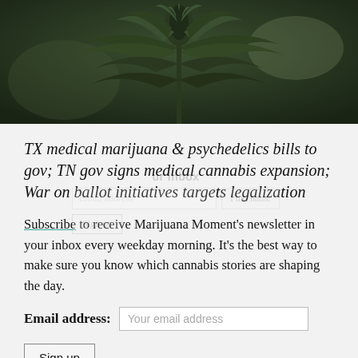[Figure (photo): Close-up photograph of a cannabis plant with dark green leaves and flower buds against a blurred background]
TX medical marijuana & psychedelics bills to gov; TN gov signs medical cannabis expansion; War on ballot initiatives targets legalization
Subscribe to receive Marijuana Moment's newsletter in your inbox every weekday morning. It's the best way to make sure you know which cannabis stories are shaping the day.
Email address: Your email address
Sign up
Your support makes Marijuana Moment possible